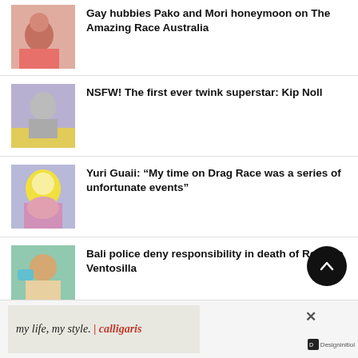Gay hubbies Pako and Mori honeymoon on The Amazing Race Australia
NSFW! The first ever twink superstar: Kip Noll
Yuri Guaii: “My time on Drag Race was a series of unfortunate events”
Bali police deny responsibility in death of Rodrigo Ventosilla
[Figure (other): Advertisement banner: 'my life, my style. | calligaris' with Designinitial logo]